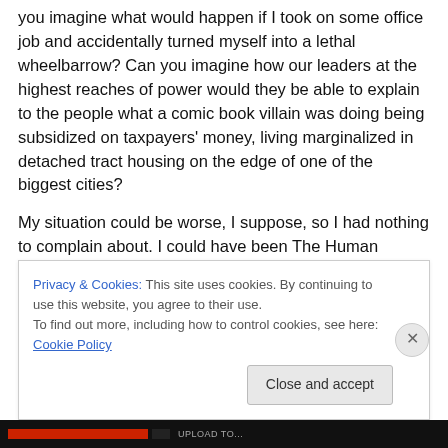you imagine what would happen if I took on some office job and accidentally turned myself into a lethal wheelbarrow? Can you imagine how our leaders at the highest reaches of power would they be able to explain to the people what a comic book villain was doing being subsidized on taxpayers' money, living marginalized in detached tract housing on the edge of one of the biggest cities?
My situation could be worse, I suppose, so I had nothing to complain about. I could have been The Human Shovel,
Privacy & Cookies: This site uses cookies. By continuing to use this website, you agree to their use.
To find out more, including how to control cookies, see here: Cookie Policy